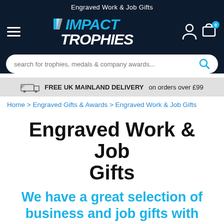Engraved Work & Job Gifts
[Figure (logo): Impact Trophies logo on dark navy background with hamburger menu, user icon, and shopping cart icon with badge showing 0]
search for trophies, medals & company awards...
FREE UK MAINLAND DELIVERY on orders over £99
Home > Engraved Gifts & Awards > Engraved Work & Job Gifts
Engraved Work & Job Gifts
We have a great selection of business and job gifts with engraving